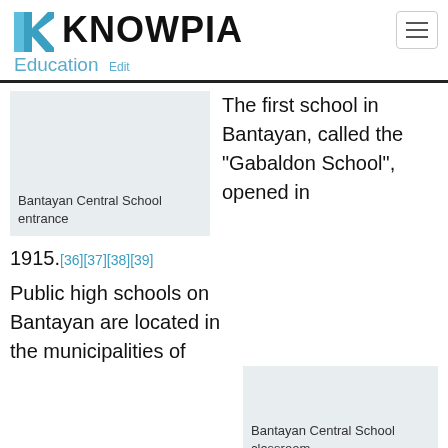[Figure (logo): Knowpia logo with blue geometric K icon and bold KNOWPIA text]
Education  Edit
Bantayan Central School entrance
The first school in Bantayan, called the "Gabaldon School", opened in 1915.[36][37][38][39]
Bantayan Central School classroom
Public high schools on Bantayan are located in the municipalities of Bantayan, Santa Fe and Madridejos as well as on Doong island. There are also private high schools and tertiary colleges such as Bantayan Southern Insti... and Salazar College. St Paul Academy (SPA) is a